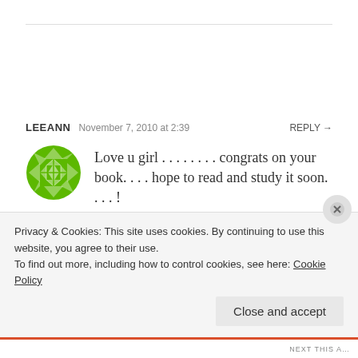LEEANN  November 7, 2010 at 2:39  REPLY →
[Figure (logo): Green geometric circular avatar/logo with triangular pattern]
Love u girl . . . . . . . . congrats on your book. . . . hope to read and study it soon. . . . !
Privacy & Cookies: This site uses cookies. By continuing to use this website, you agree to their use.
To find out more, including how to control cookies, see here: Cookie Policy
Close and accept